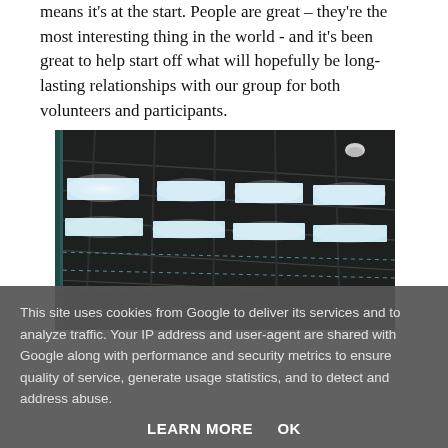means it's at the start. People are great – they're the most interesting thing in the world - and it's been great to help start off what will hopefully be long-lasting relationships with our group for both volunteers and participants.
[Figure (photo): Interior photo of a warehouse or industrial building ceiling with fluorescent light panels and metal roof structure viewed from below]
This site uses cookies from Google to deliver its services and to analyze traffic. Your IP address and user-agent are shared with Google along with performance and security metrics to ensure quality of service, generate usage statistics, and to detect and address abuse.
LEARN MORE   OK